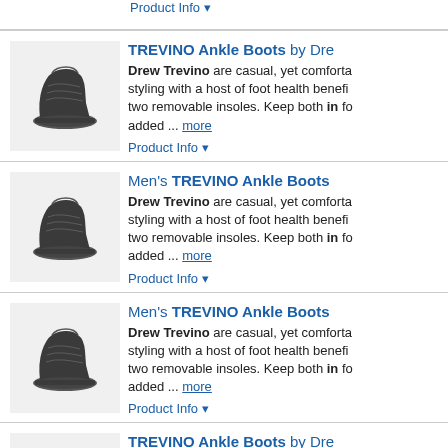Product Info ▼
TREVINO Ankle Boots by Dre...
[Figure (photo): Black leather ankle boot shoe product photo]
Drew Trevino are casual, yet comfortable styling with a host of foot health benefits two removable insoles. Keep both in fo added ... more
Product Info ▼
Men's TREVINO Ankle Boots...
[Figure (photo): Black leather ankle boot shoe product photo]
Drew Trevino are casual, yet comfortable styling with a host of foot health benefits two removable insoles. Keep both in fo added ... more
Product Info ▼
Men's TREVINO Ankle Boots...
[Figure (photo): Black leather ankle boot shoe product photo]
Drew Trevino are casual, yet comfortable styling with a host of foot health benefits two removable insoles. Keep both in fo added ... more
Product Info ▼
TREVINO Ankle Boots by Dre...
[Figure (photo): Black leather ankle boot shoe product photo]
Drew Trevino are casual, yet comfortable styling with a host of foot health benefits two removable insoles. Keep both in fo added ... more